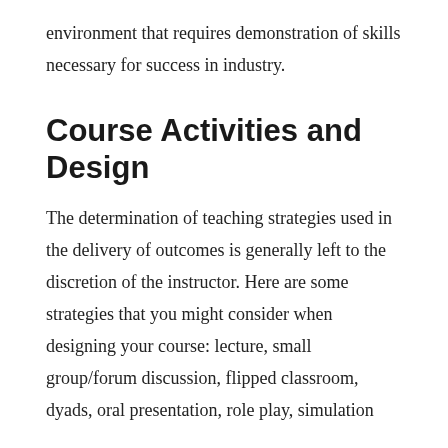environment that requires demonstration of skills necessary for success in industry.
Course Activities and Design
The determination of teaching strategies used in the delivery of outcomes is generally left to the discretion of the instructor. Here are some strategies that you might consider when designing your course: lecture, small group/forum discussion, flipped classroom, dyads, oral presentation, role play, simulation